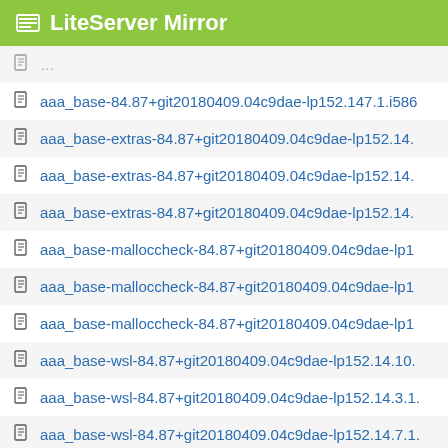LiteServer Mirror
aaa_base-84.87+git20180409.04c9dae-lp152.147.1.i586...
aaa_base-extras-84.87+git20180409.04c9dae-lp152.14....
aaa_base-extras-84.87+git20180409.04c9dae-lp152.14....
aaa_base-extras-84.87+git20180409.04c9dae-lp152.14....
aaa_base-malloccheck-84.87+git20180409.04c9dae-lp1...
aaa_base-malloccheck-84.87+git20180409.04c9dae-lp1...
aaa_base-malloccheck-84.87+git20180409.04c9dae-lp1...
aaa_base-wsl-84.87+git20180409.04c9dae-lp152.14.10....
aaa_base-wsl-84.87+git20180409.04c9dae-lp152.14.3.1....
aaa_base-wsl-84.87+git20180409.04c9dae-lp152.14.7.1....
adcli-0.8.2-lp152.4.3_lp152.5.6.1.i586.drpm
adcli-0.8.2-lp152.5.3.1.i586.rpm